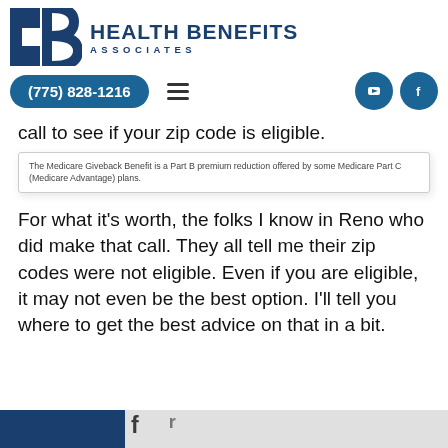[Figure (logo): Health Benefits Associates logo with HB icon and text]
call to see if your zip code is eligible.
The Medicare Giveback Benefit is a Part B premium reduction offered by some Medicare Part C (Medicare Advantage) plans.
For what it's worth, the folks I know in Reno who did make that call. They all tell me their zip codes were not eligible. Even if you are eligible, it may not even be the best option. I'll tell you where to get the best advice on that in a bit.